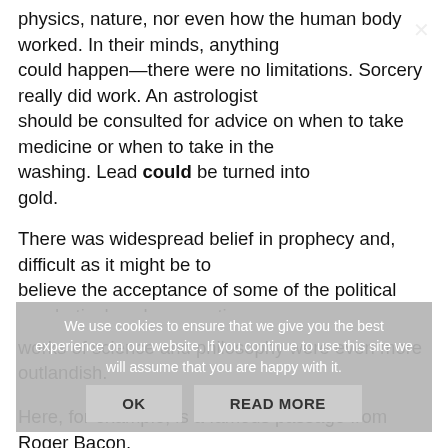physics, nature, nor even how the human body worked. In their minds, anything could happen—there were no limitations. Sorcery really did work. An astrologist should be consulted for advice on when to take medicine or when to take in the washing. Lead could be turned into gold.
There was widespread belief in prophecy and, difficult as it might be to believe the acceptance of some of the political prophetical works, sometimes works of science and philosophy were even more outlandish.
Here, for example, is a famous passage from Roger Bacon, a 13th century scientist and philosopher:
We use cookies to ensure that we give you the best experience on our website. If you continue to use this site we will assume that you are happy with it.